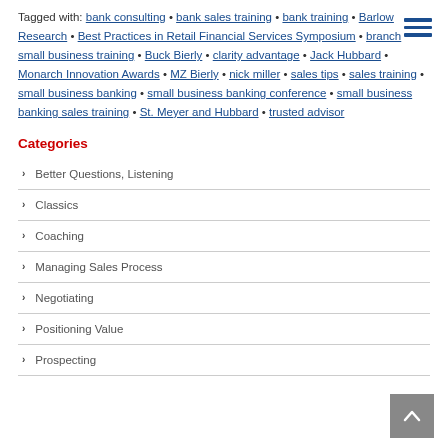Tagged with: bank consulting • bank sales training • bank training • Barlow Research • Best Practices in Retail Financial Services Symposium • branch small business training • Buck Bierly • clarity advantage • Jack Hubbard • Monarch Innovation Awards • MZ Bierly • nick miller • sales tips • sales training • small business banking • small business banking conference • small business banking sales training • St. Meyer and Hubbard • trusted advisor
Categories
Better Questions, Listening
Classics
Coaching
Managing Sales Process
Negotiating
Positioning Value
Prospecting